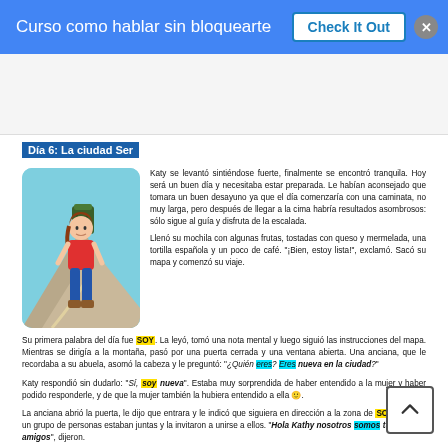Curso como hablar sin bloquearte | Check It Out
[Figure (screenshot): Advertisement banner area]
Día 6: La ciudad Ser
[Figure (illustration): Cartoon illustration of a woman hiker with backpack on a mountain trail]
Katy se levantó sintiéndose fuerte, finalmente se encontró tranquila. Hoy será un buen día y necesitaba estar preparada. Le habían aconsejado que tomara un buen desayuno ya que el día comenzaría con una caminata, no muy larga, pero después de llegar a la cima habría resultados asombrosos: sólo sigue al guía y disfruta de la escalada.
Llenó su mochila con algunas frutas, tostadas con queso y mermelada, una tortilla española y un poco de café. "¡Bien, estoy lista!", exclamó. Sacó su mapa y comenzó su viaje.
Su primera palabra del día fue SOY. La leyó, tomó una nota mental y luego siguió las instrucciones del mapa. Mientras se dirigía a la montaña, pasó por una puerta cerrada y una ventana abierta. Una anciana, que le recordaba a su abuela, asomó la cabeza y le preguntó: "¿Quién eres? Eres nueva en la ciudad?"
Katy respondió sin dudarlo: "Sí, soy nueva". Estaba muy sorprendida de haber entendido a la mujer y haber podido responderle, y de que la mujer también la hubiera entendido a ella 🙂.
La anciana abrió la puerta, le dijo que entrara y le indicó que siguiera en dirección a la zona de SOMOS. Allí, un grupo de personas estaban juntas y la invitaron a unirse a ellos. "Hola Kathy nosotros somos tus nuevos amigos", dijeron.
Uno de los chicos señaló a otro chico que caminaba y dijo, "Él es tu amigo